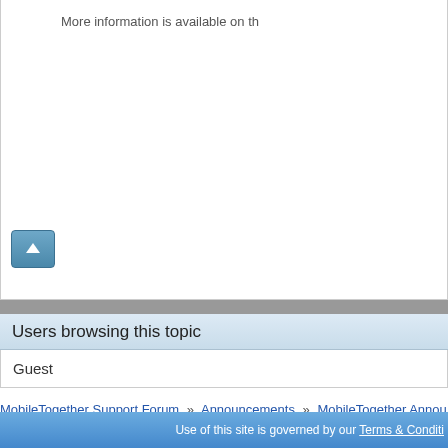More information is available on th
[Figure (other): Up arrow navigation button, blue/teal colored square button with white upward arrow icon]
Users browsing this topic
Guest
MobileTogether Support Forum  »  Announcements  »  MobileTogether Annou
Use of this site is governed by our Terms & Conditi